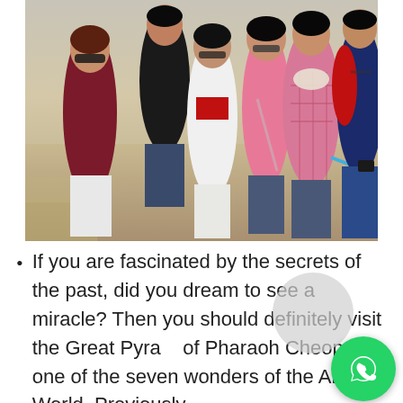[Figure (photo): A group of six people posing outdoors near what appears to be the pyramids of Egypt. Sandy/desert background. From left: a woman in a dark red/maroon puffer jacket and sunglasses, a young man in black jacket in the back, a teenage girl in white jacket over red top, a young woman in pink top and glasses, a woman in pink plaid coat with scarf, and a man in red and navy jacket with blue jeans on the right. Some hold a selfie stick.]
If you are fascinated by the secrets of the past, did you dream to see a miracle? Then you should definitely visit the Great Pyramid of Pharaoh Cheops – one of the seven wonders of the Ancient World. Previously